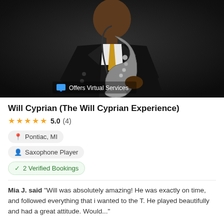[Figure (photo): Saxophone player in a dark suit with gold tie, holding a saxophone, against a dark patterned background. A badge reading 'Offers Virtual Services' appears at the bottom of the photo.]
Will Cyprian (The Will Cyprian Experience)
★★★★★ 5.0 (4)
Pontiac, MI
Saxophone Player
✓ 2 Verified Bookings
Mia J. said "Will was absolutely amazing! He was exactly on time, and followed everything that i wanted to the T. He played beautifully and had a great attitude. Would..."